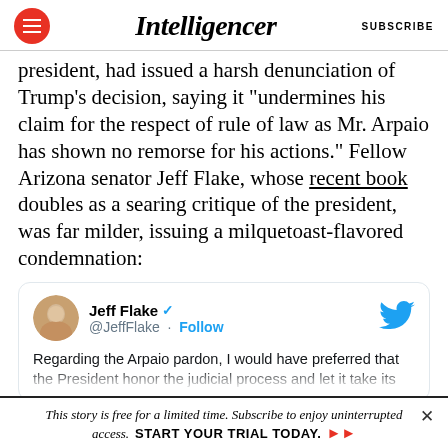Intelligencer | SUBSCRIBE
president, had issued a harsh denunciation of Trump’s decision, saying it “undermines his claim for the respect of rule of law as Mr. Arpaio has shown no remorse for his actions.” Fellow Arizona senator Jeff Flake, whose recent book doubles as a searing critique of the president, was far milder, issuing a milquetoast-flavored condemnation:
[Figure (screenshot): Embedded tweet from Jeff Flake (@JeffFlake) with Twitter bird logo, verified checkmark, and Follow button. Tweet text begins: Regarding the Arpaio pardon, I would have preferred that the President honor the judicial process and let it take its]
This story is free for a limited time. Subscribe to enjoy uninterrupted access. START YOUR TRIAL TODAY.